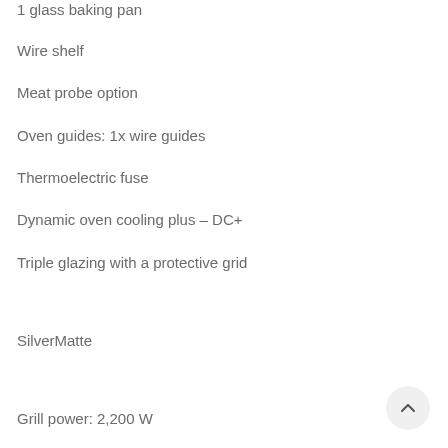1 glass baking pan
Wire shelf
Meat probe option
Oven guides: 1x wire guides
Thermoelectric fuse
Dynamic oven cooling plus – DC+
Triple glazing with a protective grid
SilverMatte
Grill power: 2,200 W